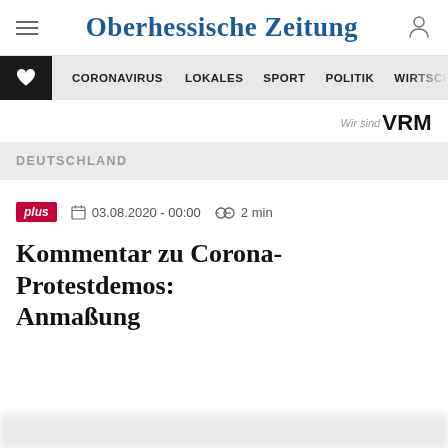Oberhessische Zeitung
CORONAVIRUS  LOKALES  SPORT  POLITIK  WIRTSCHAF
Wir sind VRM
DEUTSCHLAND
plus  03.08.2020 - 00:00  2 min
Kommentar zu Corona-Protestdemos: Anmaßung